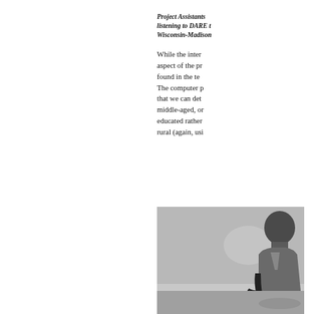Project Assistants listening to DARE t Wisconsin-Madison
While the inter aspect of the pr found in the te The computer p that we can det middle-aged, or educated rather rural (again, usi
[Figure (photo): Black and white photograph of a person seated, viewed from the side, appearing to be listening or in a meeting setting.]